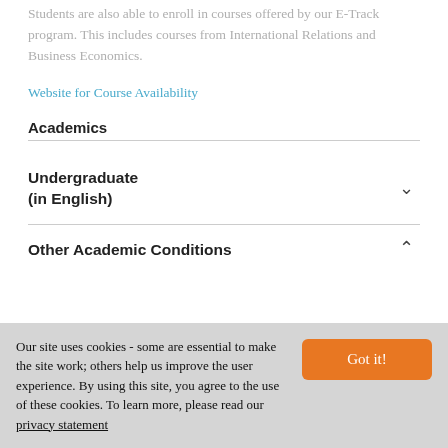Students are also able to enroll in courses offered by our E-Track program. This includes courses from International Relations and Business Economics.
Website for Course Availability
Academics
Undergraduate (in English)
Other Academic Conditions
Our site uses cookies - some are essential to make the site work; others help us improve the user experience. By using this site, you agree to the use of these cookies. To learn more, please read our privacy statement